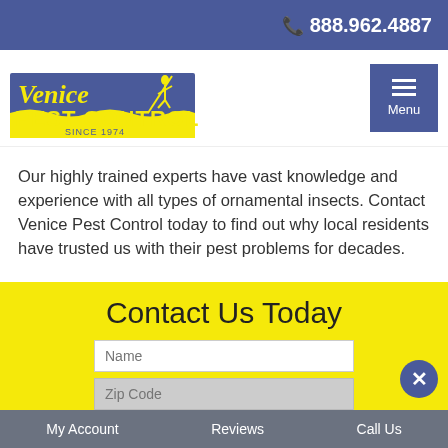888.962.4887
[Figure (logo): Venice Pest Control Inc. Since 1974 logo with gondolier silhouette]
Our highly trained experts have vast knowledge and experience with all types of ornamental insects. Contact Venice Pest Control today to find out why local residents have trusted us with their pest problems for decades.
Contact Us Today
My Account   Reviews   Call Us